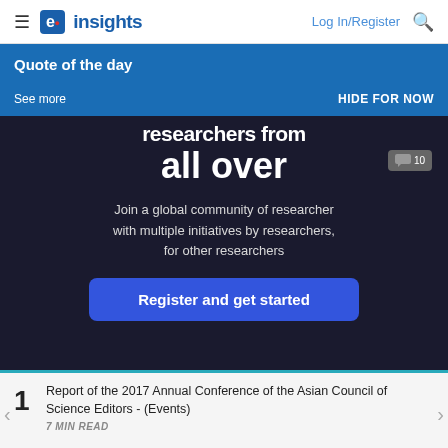e insights | Log In/Register
Quote of the day
See more
HIDE FOR NOW
[Figure (screenshot): Dark banner with white bold text reading 'researchers from all over' and subtitle 'Join a global community of researcher with multiple initiatives by researchers, for other researchers' and a blue 'Register and get started' button. Comment badge showing 10 in top right.]
1 Report of the 2017 Annual Conference of the Asian Council of Science Editors - (Events)
7 MIN READ